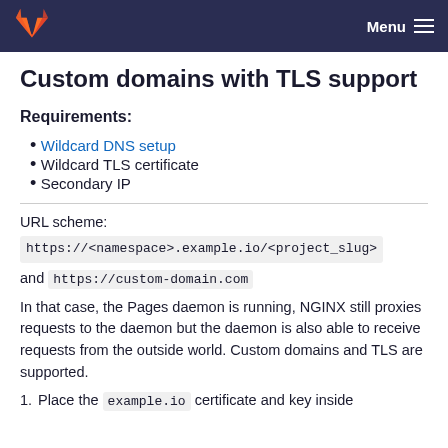Menu
Custom domains with TLS support
Requirements:
Wildcard DNS setup
Wildcard TLS certificate
Secondary IP
URL scheme:
https://<namespace>.example.io/<project_slug>
and https://custom-domain.com
In that case, the Pages daemon is running, NGINX still proxies requests to the daemon but the daemon is also able to receive requests from the outside world. Custom domains and TLS are supported.
1. Place the example.io certificate and key inside